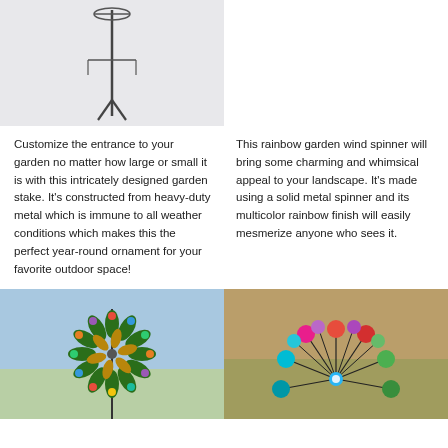[Figure (photo): Metal garden stake wind spinner on white background]
[Figure (photo): Empty white space / blank upper right area]
Customize the entrance to your garden no matter how large or small it is with this intricately designed garden stake. It's constructed from heavy-duty metal which is immune to all weather conditions which makes this the perfect year-round ornament for your favorite outdoor space!
This rainbow garden wind spinner will bring some charming and whimsical appeal to your landscape. It's made using a solid metal spinner and its multicolor rainbow finish will easily mesmerize anyone who sees it.
[Figure (photo): Colorful metal wind spinner with green and gold petal shapes and multicolored spheres, outdoors against blue sky]
[Figure (photo): Close-up of colorful metallic sphere tips arranged in starburst pattern on garden spinner, pink magenta, red, green, blue, teal spheres]